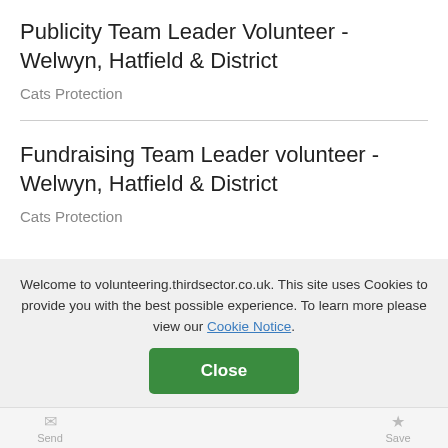Publicity Team Leader Volunteer - Welwyn, Hatfield & District
Cats Protection
Fundraising Team Leader volunteer - Welwyn, Hatfield & District
Cats Protection
Welcome to volunteering.thirdsector.co.uk. This site uses Cookies to provide you with the best possible experience. To learn more please view our Cookie Notice.
Close
Send | Close | Save